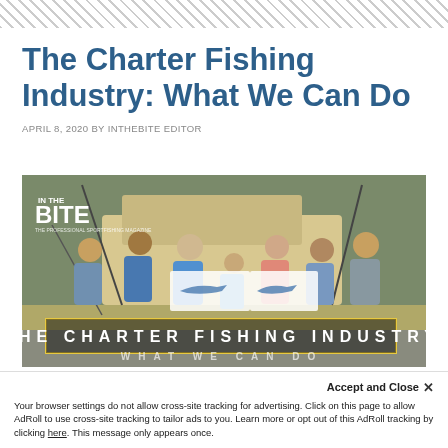The Charter Fishing Industry: What We Can Do
APRIL 8, 2020 BY INTHEBITE EDITOR
[Figure (photo): Group photo of people on a charter fishing boat holding marlin release flags, with 'THE CHARTER FISHING INDUSTRY' text overlay in a yellow border box, and 'WHAT WE CAN DO' below. InTheBite magazine logo in top left corner.]
Accept and Close ✕
Your browser settings do not allow cross-site tracking for advertising. Click on this page to allow AdRoll to use cross-site tracking to tailor ads to you. Learn more or opt out of this AdRoll tracking by clicking here. This message only appears once.